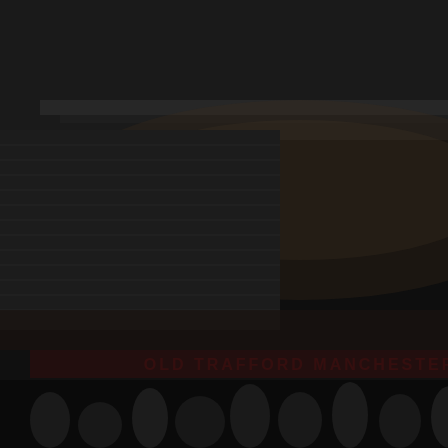[Figure (photo): Dark background photo of Old Trafford stadium at night with crowds, showing 'OLD TRAFFORD MANCHESTER' signage and 'THE THEATRE OF DREAMS' text]
Cup with Australia and Iran respectively. David Button is expected to deputise in goal.

In contrast to the reverse fixture entering the misierable final m fourth-placed Chelsea, the Re Emery's men face Maurizio S In form United are gunning fo but limited Brighton side that another win.
The Seagulls, of course, seal over United that lifted them to came at home and it's been a Hughton's team currently sit eight points clear of the releg road with form at the Amex ag

Brighton made life hard for th the same approach at Old Tra anything other than a home w

Our prediction: Man Utd 2-0 B
Form guide: Man Utd W W W
Match odds: Man Utd 1/4 Dra